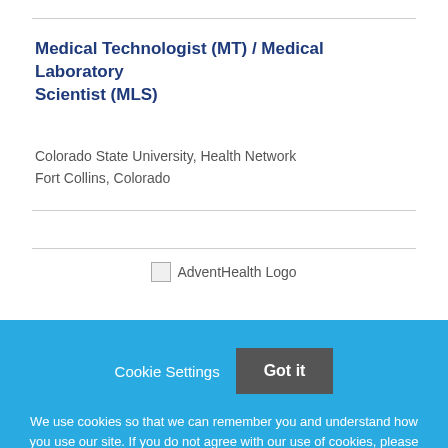Medical Technologist (MT) / Medical Laboratory Scientist (MLS)
Colorado State University, Health Network
Fort Collins, Colorado
[Figure (logo): AdventHealth Logo]
Cookie Settings   Got it
We use cookies so that we can remember you and understand how you use our site. If you do not agree with our use of cookies, please change the current settings found in our Cookie Policy. Otherwise, you agree to the use of the cookies as they are currently set.